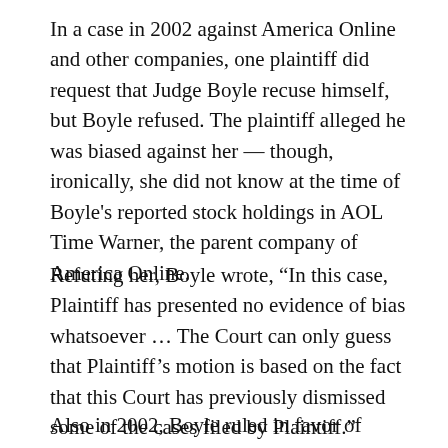In a case in 2002 against America Online and other companies, one plaintiff did request that Judge Boyle recuse himself, but Boyle refused. The plaintiff alleged he was biased against her — though, ironically, she did not know at the time of Boyle's reported stock holdings in AOL Time Warner, the parent company of America Online.
Refuting her, Boyle wrote, “In this case, Plaintiff has presented no evidence of bias whatsoever … The Court can only guess that Plaintiff’s motion is based on the fact that this Court has previously dismissed some of the cases filed by Plaintiff.”
Also in 2002, Boyle ruled in favor of Midway Airlines when the company was in Chapter 11